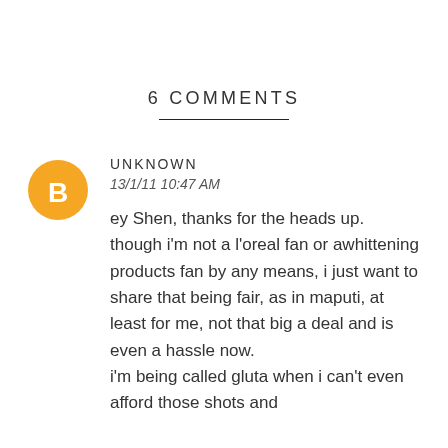6 COMMENTS
[Figure (illustration): Orange circular Blogger avatar icon with white 'B' letter in the center]
UNKNOWN
13/1/11 10:47 AM
ey Shen, thanks for the heads up. though i'm not a l'oreal fan or awhittening products fan by any means, i just want to share that being fair, as in maputi, at least for me, not that big a deal and is even a hassle now.
i'm being called gluta when i can't even afford those shots and